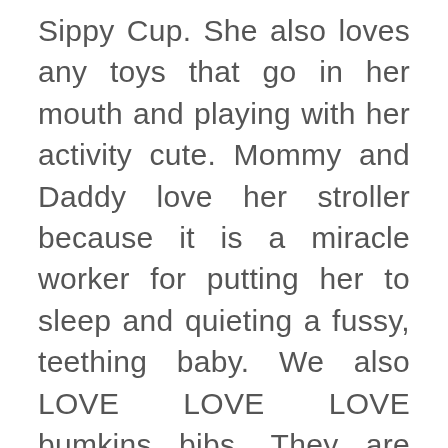Sippy Cup. She also loves any toys that go in her mouth and playing with her activity cute. Mommy and Daddy love her stroller because it is a miracle worker for putting her to sleep and quieting a fussy, teething baby. We also LOVE LOVE LOVE bumkins bibs. They are seriously amazing, you can just wipe them clean and we throw them in the washing machine at the end of the week. They are perfect for messy feeding times